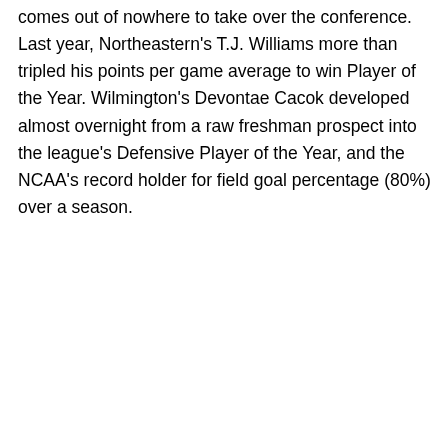comes out of nowhere to take over the conference. Last year, Northeastern's T.J. Williams more than tripled his points per game average to win Player of the Year. Wilmington's Devontae Cacok developed almost overnight from a raw freshman prospect into the league's Defensive Player of the Year, and the NCAA's record holder for field goal percentage (80%) over a season.